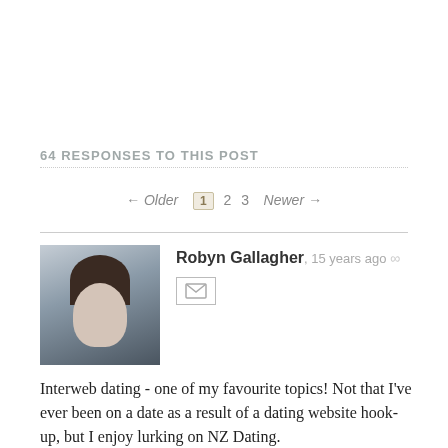64 RESPONSES TO THIS POST
← Older  1  2  3  Newer →
Robyn Gallagher, 15 years ago ∞
Interweb dating - one of my favourite topics! Not that I've ever been on a date as a result of a dating website hook-up, but I enjoy lurking on NZ Dating.
My favourite profile was from a nice but frustrated young man who had been compelled to state that he would not reply to any chicks with "angel" or "Holden" in their profile name.
For the older gentleman, I can pass on some advice